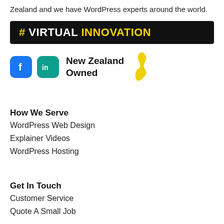Zealand and we have WordPress experts around the world.
[Figure (logo): # VIRTUAL INNOVATION logo banner — black background, hashtag and 'VIRTUAL' in white bold, 'INNOVATION' in yellow bold]
[Figure (infographic): Facebook icon (blue rounded square with white 'f'), LinkedIn icon (teal rounded square with white 'in'), bold text 'New Zealand Owned', and a golden silhouette of New Zealand map]
How We Serve
WordPress Web Design
Explainer Videos
WordPress Hosting
Get In Touch
Customer Service
Quote A Small Job